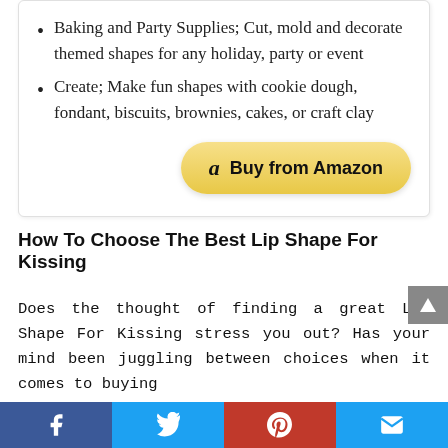Baking and Party Supplies; Cut, mold and decorate themed shapes for any holiday, party or event
Create; Make fun shapes with cookie dough, fondant, biscuits, brownies, cakes, or craft clay
[Figure (other): Buy from Amazon button with Amazon logo]
How To Choose The Best Lip Shape For Kissing
Does the thought of finding a great Lip Shape For Kissing stress you out? Has your mind been juggling between choices when it comes to buying
Facebook | Twitter | Pinterest | Email social share buttons